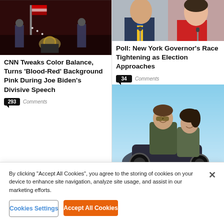[Figure (photo): Dark stage scene with figures at a presidential podium with seal, red background, military personnel visible]
CNN Tweaks Color Balance, Turns ‘Blood-Red’ Background Pink During Joe Biden’s Divisive Speech
293 Comments
[Figure (photo): Two people side by side: a man in a suit with a yellow/blue striped tie at a microphone, and a woman in red at a microphone]
Poll: New York Governor’s Race Tightening as Election Approaches
34 Comments
[Figure (photo): Two people on a motorcycle, man wearing aviator sunglasses and military-style jacket, woman behind him, outdoors scene]
By clicking “Accept All Cookies”, you agree to the storing of cookies on your device to enhance site navigation, analyze site usage, and assist in our marketing efforts.
Cookies Settings
Accept All Cookies